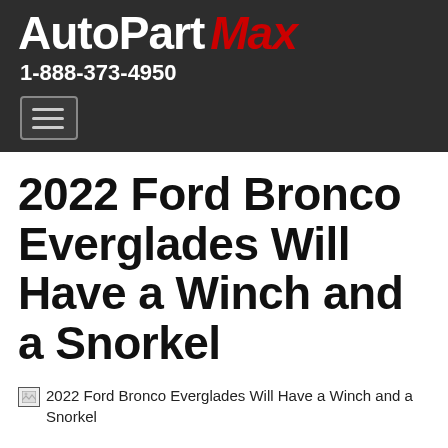AutoPart Max | 1-888-373-4950
2022 Ford Bronco Everglades Will Have a Winch and a Snorkel
[Figure (photo): Broken image placeholder for '2022 Ford Bronco Everglades Will Have a Winch and a Snorkel']